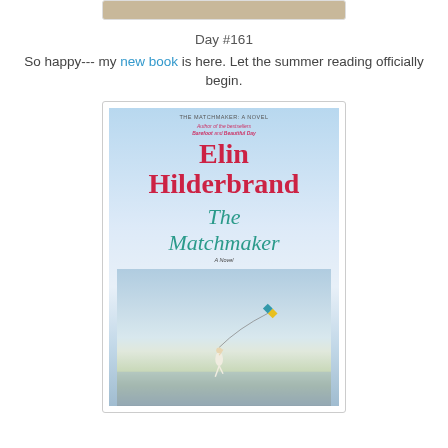[Figure (photo): Partial top image, cropped, showing a sandy/earthy scene at the very top of the page]
Day #161
So happy--- my new book is here. Let the summer reading officially begin.
[Figure (photo): Book cover of 'The Matchmaker' by Elin Hilderbrand, showing the author's name in red, the title in teal, and a beach scene with a woman running and flying a kite]